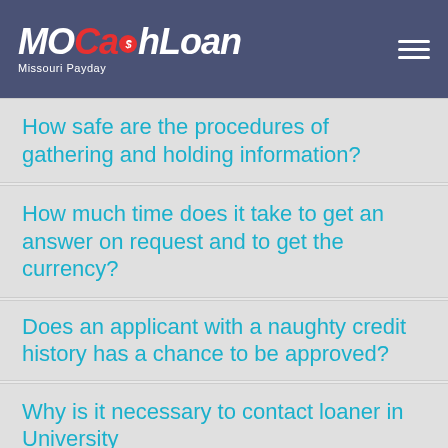MOCashLoan Missouri Payday
How safe are the procedures of gathering and holding information?
How much time does it take to get an answer on request and to get the currency?
Does an applicant with a naughty credit history has a chance to be approved?
Why is it necessary to contact loaner in University